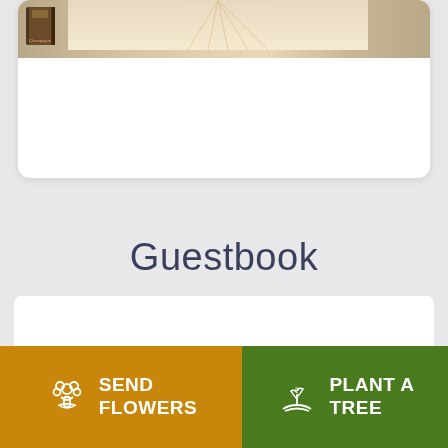[Figure (illustration): Top section showing a book/brochure image over a landscape background, partially cropped at top]
Guestbook
Leave a message to share your
[Figure (other): Send Flowers button with flower bouquet icon, orange background]
[Figure (other): Plant a Tree button with seedling hand icon, green background]